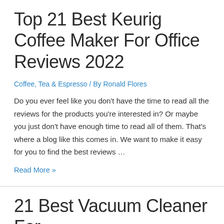Top 21 Best Keurig Coffee Maker For Office Reviews 2022
Coffee, Tea & Espresso / By Ronald Flores
Do you ever feel like you don't have the time to read all the reviews for the products you're interested in? Or maybe you just don't have enough time to read all of them. That's where a blog like this comes in. We want to make it easy for you to find the best reviews …
Read More »
21 Best Vacuum Cleaner For Thick Carpet Reviews &